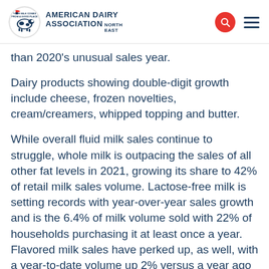AMERICAN DAIRY ASSOCIATION NORTH EAST
than 2020's unusual sales year.
Dairy products showing double-digit growth include cheese, frozen novelties, cream/creamers, whipped topping and butter.
While overall fluid milk sales continue to struggle, whole milk is outpacing the sales of all other fat levels in 2021, growing its share to 42% of retail milk sales volume. Lactose-free milk is setting records with year-over-year sales growth and is the 6.4% of milk volume sold with 22% of households purchasing it at least once a year. Flavored milk sales have perked up, as well, with a year-to-date volume up 2% versus a year ago and